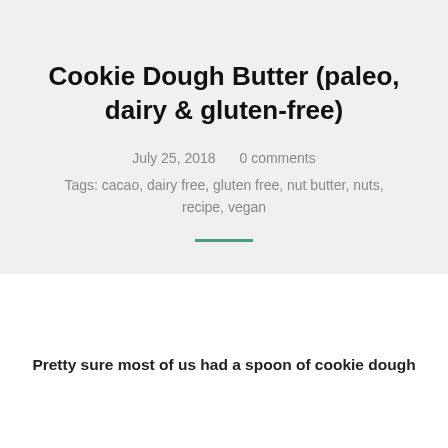Cookie Dough Butter (paleo, dairy & gluten-free)
July 25, 2018    0 comments
Tags: cacao, dairy free, gluten free, nut butter, nuts, recipe, vegan
Pretty sure most of us had a spoon of cookie dough